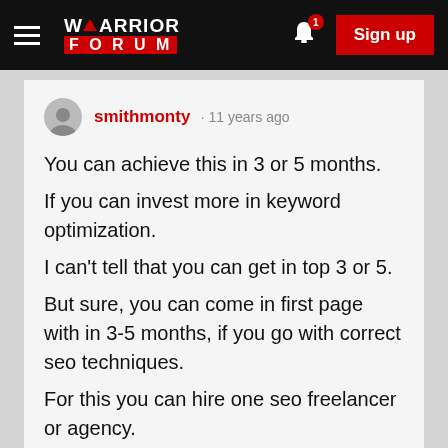Warrior Forum — Sign up
smithmonty · 11 years ago
You can achieve this in 3 or 5 months.
If you can invest more in keyword optimization.
I can't tell that you can get in top 3 or 5.
But sure, you can come in first page with in 3-5 months, if you go with correct seo techniques.
For this you can hire one seo freelancer or agency.
Thank this user